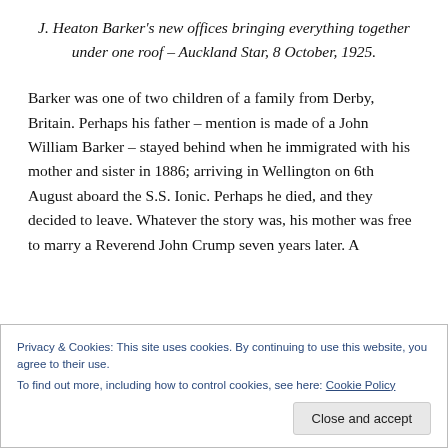J. Heaton Barker's new offices bringing everything together under one roof – Auckland Star, 8 October, 1925.
Barker was one of two children of a family from Derby, Britain. Perhaps his father – mention is made of a John William Barker – stayed behind when he immigrated with his mother and sister in 1886; arriving in Wellington on 6th August aboard the S.S. Ionic. Perhaps he died, and they decided to leave. Whatever the story was, his mother was free to marry a Reverend John Crump seven years later. A
Privacy & Cookies: This site uses cookies. By continuing to use this website, you agree to their use. To find out more, including how to control cookies, see here: Cookie Policy
Close and accept